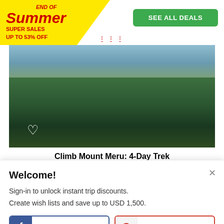[Figure (infographic): End of Summer Super Sales promotion badge - yellow triangle with red italic text: 'END OF Summer SUPER SALES UP TO 53% OFF']
SEE ALL DEALS
[Figure (photo): Landscape photo of dense tropical/mountain forest with green trees and misty mountain background]
Climb Mount Meru: 4-Day Trek
Welcome!
Sign-in to unlock instant trip discounts.
Create wish lists and save up to USD 1,500.
FACEBOOK
GOOGLE
More login options here.